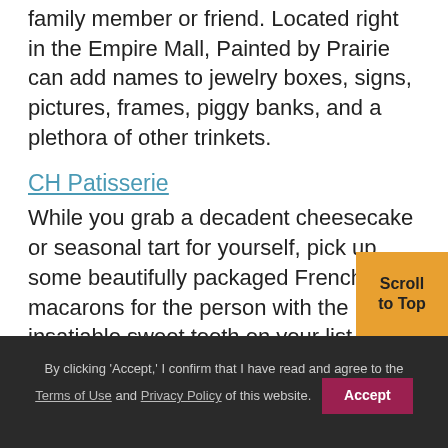family member or friend. Located right in the Empire Mall, Painted by Prairie can add names to jewelry boxes, signs, pictures, frames, piggy banks, and a plethora of other trinkets.
CH Patisserie
While you grab a decadent cheesecake or seasonal tart for yourself, pick up some beautifully packaged French macarons for the person with the insatiable sweet tooth on your list. Choose from almost a dozen flavors of macarons (sometimes more).
By clicking 'Accept,' I confirm that I have read and agree to the Terms of Use and Privacy Policy of this website. Accept